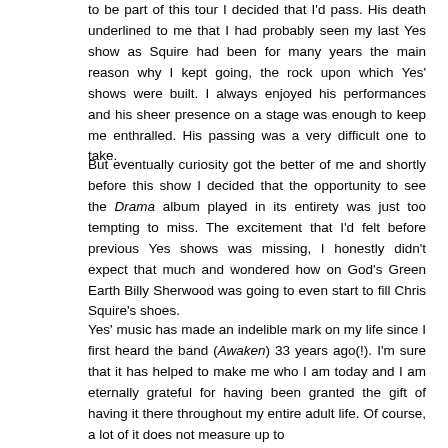to be part of this tour I decided that I'd pass. His death underlined to me that I had probably seen my last Yes show as Squire had been for many years the main reason why I kept going, the rock upon which Yes' shows were built. I always enjoyed his performances and his sheer presence on a stage was enough to keep me enthralled. His passing was a very difficult one to take.
But eventually curiosity got the better of me and shortly before this show I decided that the opportunity to see the Drama album played in its entirety was just too tempting to miss. The excitement that I'd felt before previous Yes shows was missing, I honestly didn't expect that much and wondered how on God's Green Earth Billy Sherwood was going to even start to fill Chris Squire's shoes.
Yes' music has made an indelible mark on my life since I first heard the band (Awaken) 33 years ago(!). I'm sure that it has helped to make me who I am today and I am eternally grateful for having been granted the gift of having it there throughout my entire adult life. Of course, a lot of it does not measure up to